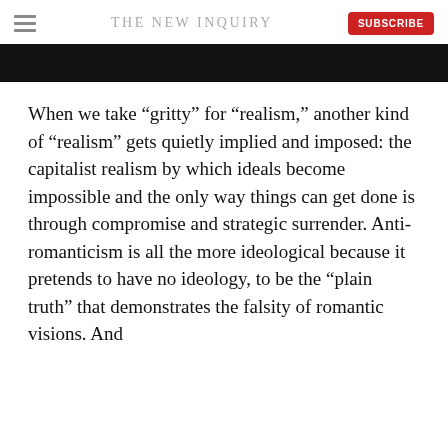THE NEW INQUIRY
[Figure (photo): Black banner/image at the top of the article]
When we take “gritty” for “realism,” another kind of “realism” gets quietly implied and imposed: the capitalist realism by which ideals become impossible and the only way things can get done is through compromise and strategic surrender. Anti-romanticism is all the more ideological because it pretends to have no ideology, to be the “plain truth” that demonstrates the falsity of romantic visions. And